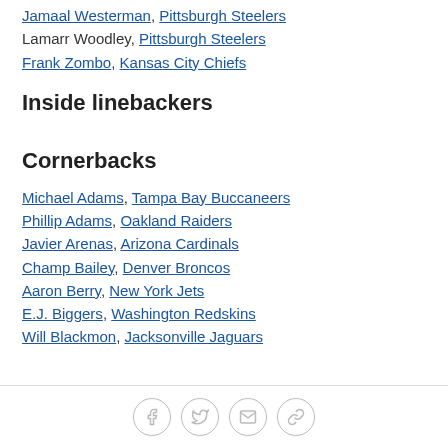Jamaal Westerman, Pittsburgh Steelers
Lamarr Woodley, Pittsburgh Steelers
Frank Zombo, Kansas City Chiefs
Inside linebackers
Cornerbacks
Michael Adams, Tampa Bay Buccaneers
Phillip Adams, Oakland Raiders
Javier Arenas, Arizona Cardinals
Champ Bailey, Denver Broncos
Aaron Berry, New York Jets
E.J. Biggers, Washington Redskins
Will Blackmon, Jacksonville Jaguars
Social share icons: Facebook, Twitter, Email, Link